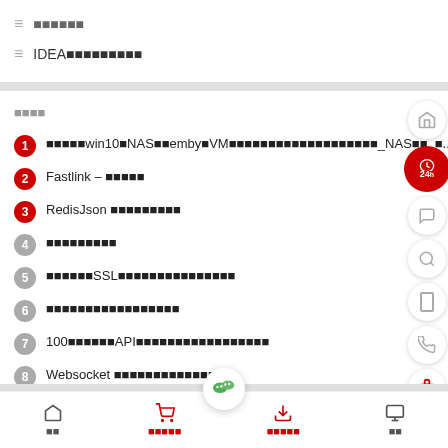■■■■■■
IDEA■■■■■■■■■
■■■■
1. ■■■■■win10■NAS■■emby■VM■■■■■■■■■■■■■■■■■■■■■_NAS■■_■...
2. Fastlink – ■■■■■
3. RedisJson ■■■■■■■■■
4. ■■■■■■■■■
5. ■■■■■■SSL■■■■■■■■■■■■■■■■■
6. ■■■■■■■■■■■■■■■■■
7. 100■■■■■■API■■■■■■■■■■■■■■■■■■■
8. Websocket ■■■■■■■■■■■■■■